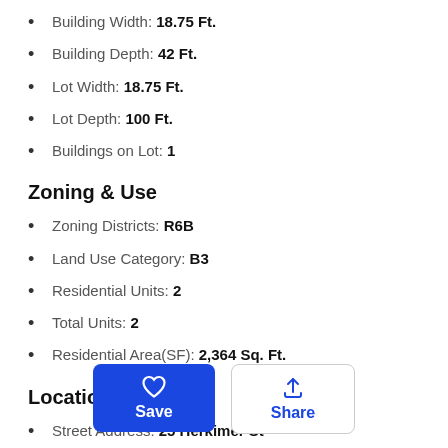Building Width: 18.75 Ft.
Building Depth: 42 Ft.
Lot Width: 18.75 Ft.
Lot Depth: 100 Ft.
Buildings on Lot: 1
Zoning & Use
Zoning Districts: R6B
Land Use Category: B3
Residential Units: 2
Total Units: 2
Residential Area(SF): 2,364 Sq. Ft.
Location Details
Street Address: 25 Herkimer St
Zip Code: 11216